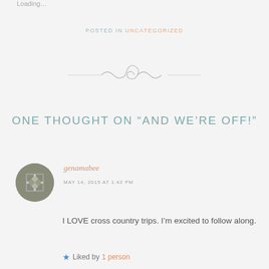Loading…
POSTED IN UNCATEGORIZED
[Figure (illustration): Decorative divider with curved lines and swirls]
ONE THOUGHT ON “AND WE’RE OFF!”
genamabee
MAY 14, 2015 AT 1:42 PM
I LOVE cross country trips. I’m excited to follow along.
Liked by 1 person